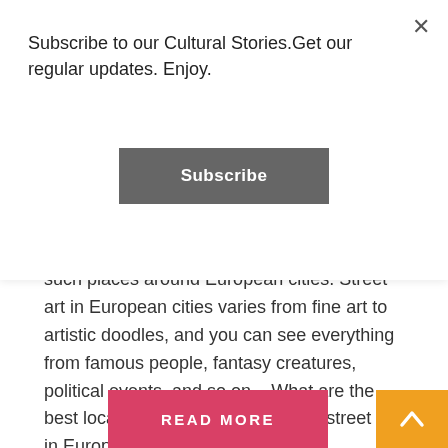Subscribe to our Cultural Stories.Get our regular updates. Enjoy.
Subscribe
such places around European cities. Street art in European cities varies from fine art to artistic doodles, and you can see everything from famous people, fantasy creatures, political events, and so on... What are the best locations to admire some cool street art in Europe? Keep reading to find out...
READ MORE